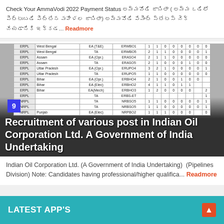Check Your AmmaVodi 2022 Payment Status అమ్మవోడి జాబితా ( అమ్మ ఒడిలో పెట్టుబడి పెట్టిన మహిళల జాబితా) అమ్మవోడి పేమెంట్ స్టేటస్ చెక్ చేయడానికి ఇక్కడ...  Readmore
[Figure (table-as-image): Table showing ERPL/NRPL recruitment data for various states including West Bengal, Assam, Uttar Pradesh, Bihar, Punjab with columns for EA(T&E), TA, EA(Opr.) categories and numeric counts. Overlaid text reads: Recruitment of various post in Indian Oil Corporation Ltd. A Government of India Undertaking. Blue badge with number 9 visible.]
Indian Oil Corporation Ltd. (A Government of India Undertaking) (Pipelines Division) Note: Candidates having professional/higher qualifica... Readmore
LATEST APP'S